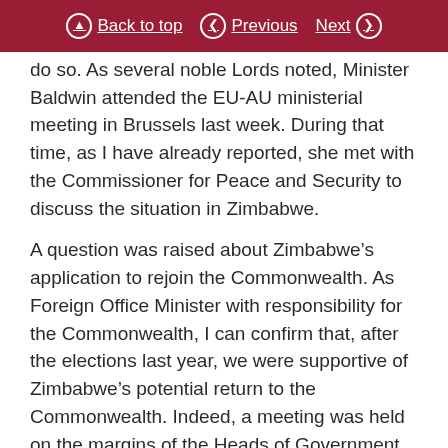Back to top | Previous | Next
do so. As several noble Lords noted, Minister Baldwin attended the EU-AU ministerial meeting in Brussels last week. During that time, as I have already reported, she met with the Commissioner for Peace and Security to discuss the situation in Zimbabwe.
A question was raised about Zimbabwe’s application to rejoin the Commonwealth. As Foreign Office Minister with responsibility for the Commonwealth, I can confirm that, after the elections last year, we were supportive of Zimbabwe’s potential return to the Commonwealth. Indeed, a meeting was held on the margins of the Heads of Government meeting. However, as all noble Lords will know, it is not just for the UK to decide whether Zimbabwe can rejoin